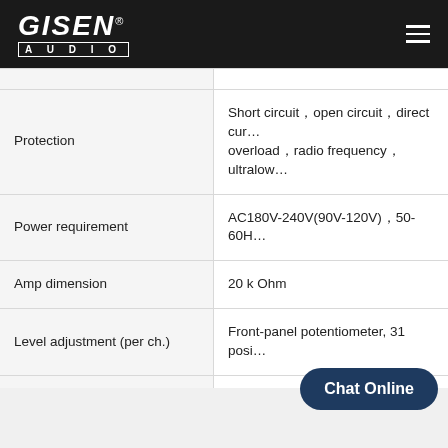GISEN AUDIO
| Property | Value |
| --- | --- |
| Protection | Short circuit，open circuit，direct cur… overload，radio frequency，ultralow… |
| Power requirement | AC180V-240V(90V-120V)，50-60H… |
| Amp dimension | 20 k Ohm |
| Level adjustment (per ch.) | Front-panel potentiometer, 31 posi… |
| Dimensions: (H*W*L) | 88Xx483x396mm |
| Packing dimension | 180x560x500mm |
| Net weight(kg) | 12.5 |
| Gross weight(kg) | 16.5 |